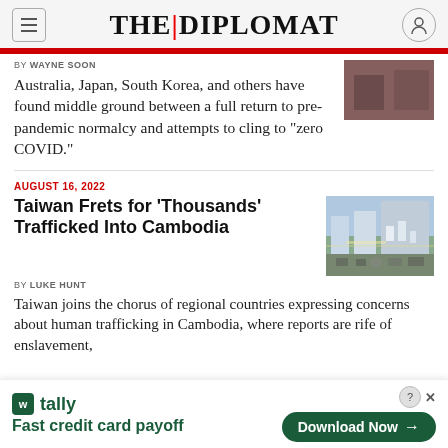THE DIPLOMAT
By WAYNE SOON
Australia, Japan, South Korea, and others have found middle ground between a full return to pre-pandemic normalcy and attempts to cling to “zero COVID.”
AUGUST 16, 2022
Taiwan Frets for ‘Thousands’ Trafficked Into Cambodia
By LUKE HUNT
[Figure (photo): Street scene in Cambodia with buildings, vehicles, and people]
Taiwan joins the chorus of regional countries expressing concerns about human trafficking in Cambodia, where reports are rife of enslavement,
tally Fast credit card payoff Download Now